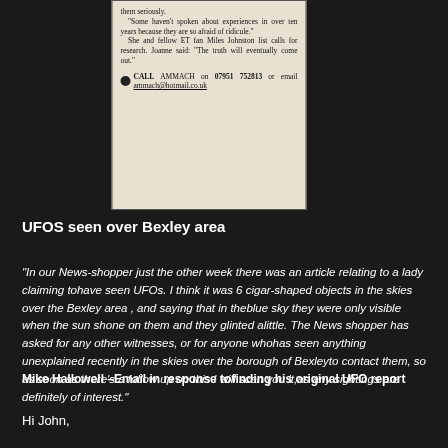[Figure (photo): Scanned newspaper clipping showing text about AMMACH with contact details including phone number 07951 752813 and email ammach@hotmail.co.uk]
UFOS seen over Bexley area
"In our News-shopper just the other week there was an article relating to a lady claiming tohave seen UFOs. I think it was 6 cigar-shaped objects in the skies over the Bexley area , and saying that in theblue sky they were only visible when the sun shone on them and they glinted alittle. The News shopper has asked for any other witnesses, or for anyone whohas seen anything unexplained recently in the skies over the borough of Bexleyto contact them, so as soon as there's a follow up on this I will scan you it,as any sightings are definitely of interest."
Mike Hallowell –Email in response tofinding his original UFO report
Hi John,